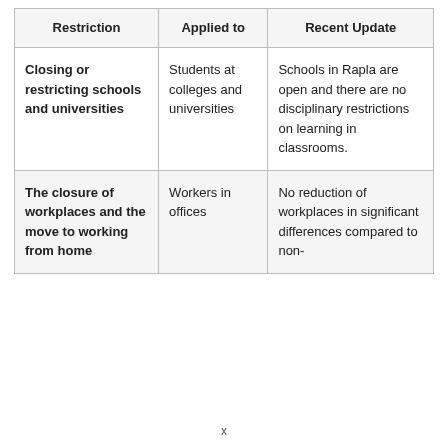| Restriction | Applied to | Recent Update |
| --- | --- | --- |
| Closing or restricting schools and universities | Students at colleges and universities | Schools in Rapla are open and there are no disciplinary restrictions on learning in classrooms. |
| The closure of workplaces and the move to working from home | Workers in offices | No reduction of workplaces in significant differences compared to non-Covid 19... |
x